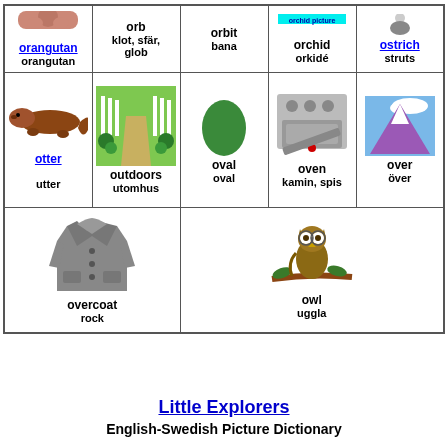| orangutan / orangutan | orb / klot, sfär, glob | orbit / bana | orchid / orkidé | ostrich / struts |
| otter / utter | outdoors / utomhus | oval / oval | oven / kamin, spis | over / över |
| overcoat / rock | owl / uggla |
Little Explorers
English-Swedish Picture Dictionary